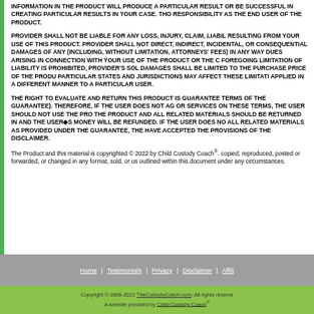INFORMATION IN THE PRODUCT WILL PRODUCE A PARTICULAR RESULT OR BE SUCCESSFUL IN CREATING PARTICULAR RESULTS IN YOUR CASE. THOSE ARE YOUR RESPONSIBILITY AS THE END USER OF THE PRODUCT.
PROVIDER SHALL NOT BE LIABLE FOR ANY LOSS, INJURY, CLAIM, LIABILITY RESULTING FROM YOUR USE OF THIS PRODUCT. PROVIDER SHALL NOT BE LIABLE FOR DIRECT, INDIRECT, INCIDENTAL, OR CONSEQUENTIAL DAMAGES OF ANY KIND (INCLUDING, WITHOUT LIMITATION, ATTORNEYS' FEES) IN ANY WAY DUE TO OR ARISING IN CONNECTION WITH YOUR USE OF THE PRODUCT OR THE CONTENT. IF THE FOREGOING LIMITATION OF LIABILITY IS PROHIBITED, PROVIDER'S SOLE LIABILITY FOR DAMAGES SHALL BE LIMITED TO THE PURCHASE PRICE OF THE PRODUCT. NOTE PARTICULAR STATES AND JURISDICTIONS MAY AFFECT THESE LIMITATIONS OR BE APPLIED IN A DIFFERENT MANNER TO A PARTICULAR USER.
THE RIGHT TO EVALUATE AND RETURN THIS PRODUCT IS GUARANTEED (SEE TERMS OF THE GUARANTEE). THEREFORE, IF THE USER DOES NOT AGREE TO THESE OR SERVICES ON THESE TERMS, THE USER SHOULD NOT USE THE PRODUCT, AND THE PRODUCT AND ALL RELATED MATERIALS SHOULD BE RETURNED IMMEDIATELY AND THE USER◆S MONEY WILL BE REFUNDED. IF THE USER DOES NOT RETURN ALL RELATED MATERIALS AS PROVIDED UNDER THE GUARANTEE, THE USER WILL HAVE ACCEPTED THE PROVISIONS OF THE DISCLAIMER.
The Product and this material is copyrighted © 2022 by Child Custody Coach®. copied, reproduced, posted or forwarded, or changed in any format, sold, or us outlined within this document under any circumstances.
Home | Testimonials | Privacy | Disclaimer | Affili
Copyright © 2006-2022 TheCustodyCoach.com. All rights reserve A website provided by Child Custody Coach®